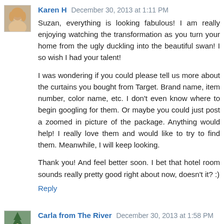Karen H December 30, 2013 at 1:11 PM
Suzan, everything is looking fabulous! I am really enjoying watching the transformation as you turn your home from the ugly duckling into the beautiful swan! I so wish I had your talent!
I was wondering if you could please tell us more about the curtains you bought from Target. Brand name, item number, color name, etc. I don't even know where to begin googling for them. Or maybe you could just post a zoomed in picture of the package. Anything would help! I really love them and would like to try to find them. Meanwhile, I will keep looking.
Thank you! And feel better soon. I bet that hotel room sounds really pretty good right about now, doesn't it? :)
Reply
Carla from The River December 30, 2013 at 1:58 PM
:-)
I am under the weather too. How do we catch these darn colds anyway?